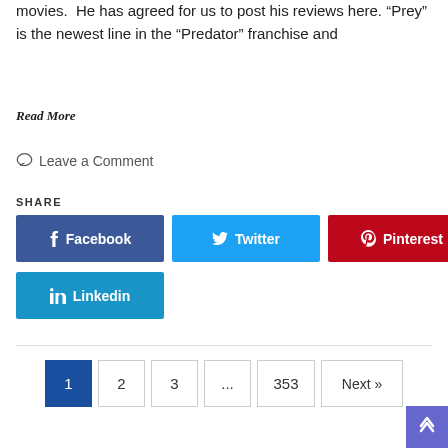movies. He has agreed for us to post his reviews here. “Prey” is the newest line in the “Predator” franchise and
Read More
Leave a Comment
SHARE
[Figure (infographic): Social share buttons: Facebook (blue), Twitter (light blue), Pinterest (dark red), Linkedin (blue)]
[Figure (infographic): Pagination: active page 1 (dark blue), pages 2, 3, ellipsis, 353, Next button]
[Figure (infographic): Scroll-to-top purple button bottom right corner]